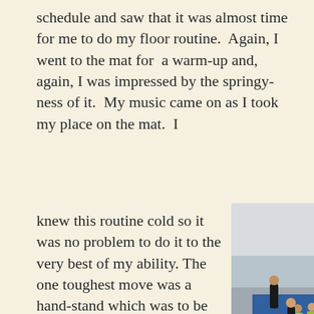schedule and saw that it was almost time for me to do my floor routine.  Again, I went to the mat for  a warm-up and, again, I was impressed by the springy-ness of it.  My music came on as I took my place on the mat.  I
knew this routine cold so it was no problem to do it to the very best of my ability. The one toughest move was a hand-stand which was to be held for a few seconds and then a quarter turn down into the splits.  I had practiced this move umpteen times in our basement rec-room.  My friend Lode-
[Figure (photo): A gymnastics competition or practice session in a gymnasium. A gymnast is performing a handstand on the floor mat in the foreground. In the background, coaches and other gymnasts in bright yellow-green outfits are visible, along with bleachers and various gymnastics equipment.]